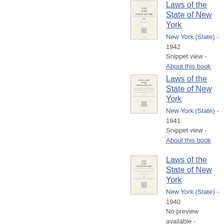[Figure (illustration): Thumbnail image of book cover: Laws of the State of New York, 1942]
Laws of the State of New York
New York (State) - 1942
Snippet view - About this book
[Figure (illustration): Thumbnail image of book cover: Local Laws of the Cities and Villages of the State of New York, 1941]
Laws of the State of New York
New York (State) - 1941
Snippet view - About this book
[Figure (illustration): Thumbnail image of book cover: Laws of the State of New York, 1940]
Laws of the State of New York
New York (State) - 1940
No preview available - About this book